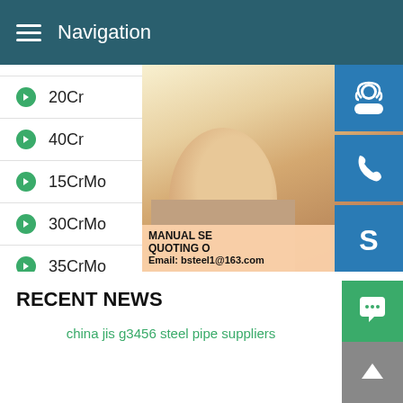Navigation
20Cr
40Cr
15CrMo
30CrMo
35CrMo
42CrMo
[Figure (photo): Customer service representative woman wearing headset, with overlay text: MANUAL SE... QUOTING O... Email: bsteel1@163.com, and blue sidebar icons for customer service, phone, and Skype]
RECENT NEWS
china jis g3456 steel pipe suppliers